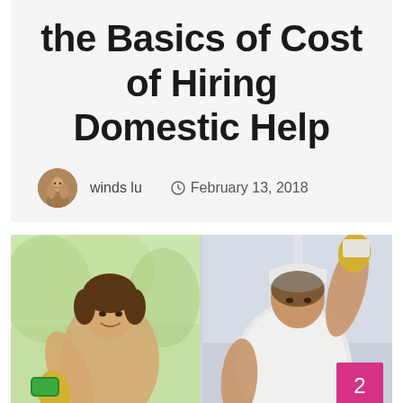the Basics of Cost of Hiring Domestic Help
winds lu  February 13, 2018
[Figure (photo): Two-panel photo of a woman cleaning windows with yellow rubber gloves — left panel shows green sponge on glass, right panel shows cloth on window frame. Pink badge with number 2 in bottom right corner.]